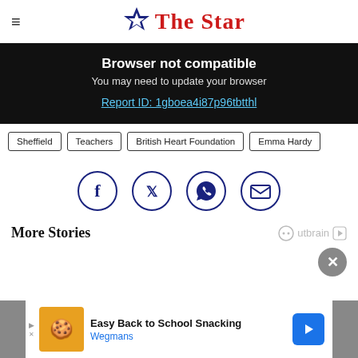The Star
Browser not compatible
You may need to update your browser
Report ID: 1gboea4i87p96tbtthl
Sheffield
Teachers
British Heart Foundation
Emma Hardy
[Figure (infographic): Social share icons: Facebook, Twitter, WhatsApp, Email in navy blue circles]
More Stories
[Figure (logo): Outbrain logo with play icon]
[Figure (infographic): Close button X in grey circle]
[Figure (infographic): Advertisement banner: Easy Back to School Snacking - Wegmans]